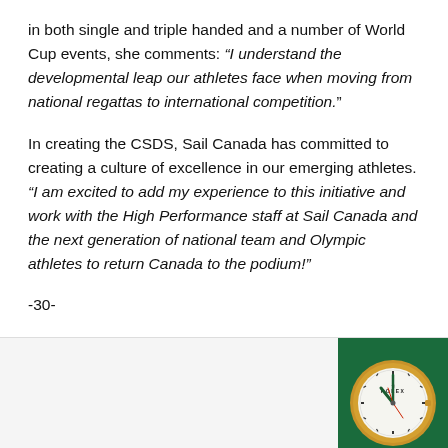in both single and triple handed and a number of World Cup events, she comments: “I understand the developmental leap our athletes face when moving from national regattas to international competition.”
In creating the CSDS, Sail Canada has committed to creating a culture of excellence in our emerging athletes. “I am excited to add my experience to this initiative and work with the High Performance staff at Sail Canada and the next generation of national team and Olympic athletes to return Canada to the podium!”
-30-
[Figure (logo): Rolex watch logo in bottom right corner on a green background]